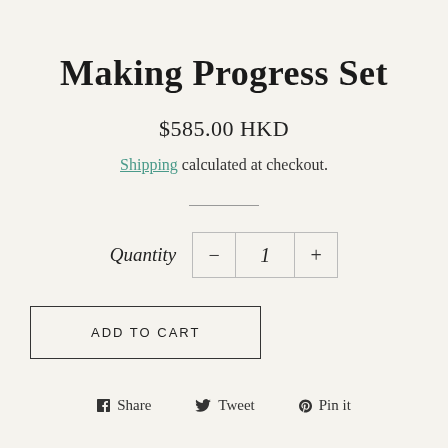Making Progress Set
$585.00 HKD
Shipping calculated at checkout.
Quantity - 1 +
ADD TO CART
Share  Tweet  Pin it